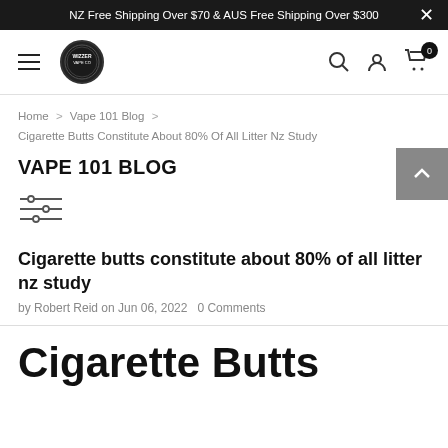NZ Free Shipping Over $70 & AUS Free Shipping Over $300
[Figure (logo): Navigation bar with hamburger menu, circular logo, search icon, user icon, and cart icon with badge showing 0]
Home > Vape 101 Blog > Cigarette Butts Constitute About 80% Of All Litter Nz Study
VAPE 101 BLOG
[Figure (other): Filter/settings sliders icon]
Cigarette butts constitute about 80% of all litter nz study
by Robert Reid on Jun 06, 2022   0 Comments
Cigarette Butts